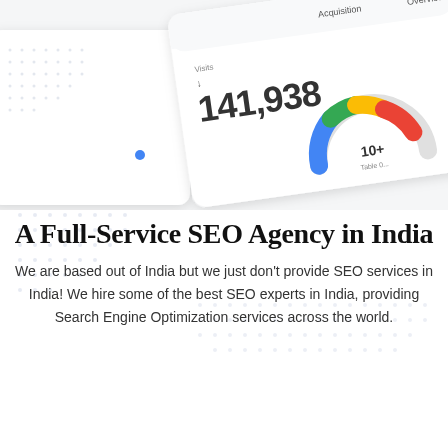[Figure (screenshot): Google Analytics dashboard screenshot showing acquisition metrics with 141,938 visits, a colorful gauge/donut chart with 10+ indicator, displayed on tablet/mobile devices with a dotted background pattern]
A Full-Service SEO Agency in India
We are based out of India but we just don't provide SEO services in India! We hire some of the best SEO experts in India, providing Search Engine Optimization services across the world.